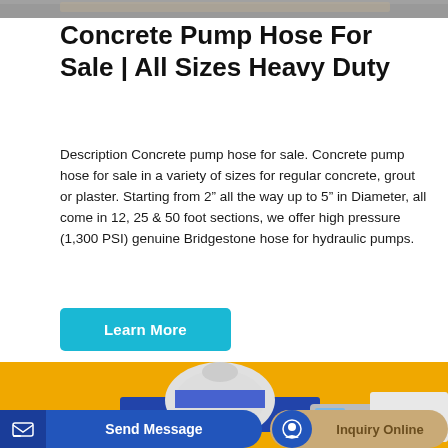[Figure (photo): Partial view of concrete pump equipment at the top of the page]
Concrete Pump Hose For Sale | All Sizes Heavy Duty
Description Concrete pump hose for sale. Concrete pump hose for sale in a variety of sizes for regular concrete, grout or plaster. Starting from 2” all the way up to 5” in Diameter, all come in 12, 25 & 50 foot sections, we offer high pressure (1,300 PSI) genuine Bridgestone hose for hydraulic pumps.
[Figure (illustration): Illustration of a concrete mixer truck on a yellow background]
[Figure (screenshot): Bottom UI bar with Send Message and Inquiry Online buttons]